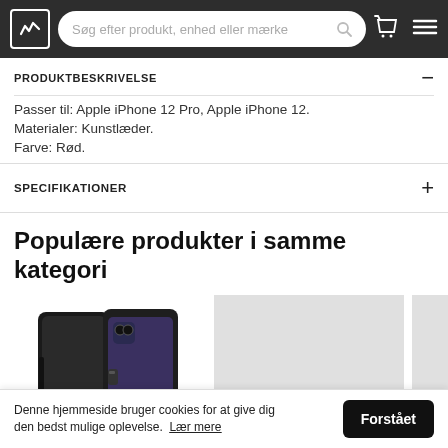Søg efter produkt, enhed eller mærke
PRODUKTBESKRIVELSE
Passer til: Apple iPhone 12 Pro, Apple iPhone 12.
Materialer: Kunstlæder.
Farve: Rød.
SPECIFIKATIONER
Populære produkter i samme kategori
[Figure (photo): Two black leather wallet phone cases for iPhone]
[Figure (photo): Placeholder: Billede blev ikke fundet]
[Figure (photo): Placeholder: Billede blev ikke fundet (partially visible)]
Denne hjemmeside bruger cookies for at give dig den bedst mulige oplevelse. Lær mere
Forstået